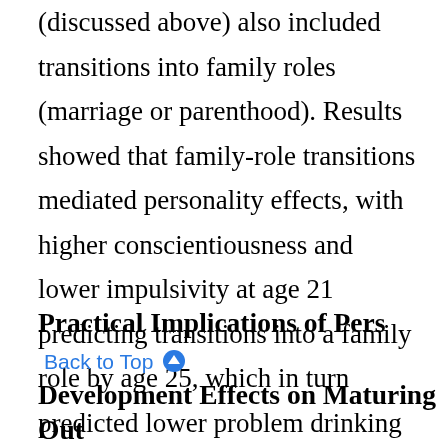cross-lag models of Lee and colleagues (2015b) (discussed above) also included transitions into family roles (marriage or parenthood). Results showed that family-role transitions mediated personality effects, with higher conscientiousness and lower impulsivity at age 21 predicting transitions into a family role by age 25, which in turn predicted lower problem drinking at age 29 (see figure 3). In contrast, personality was not found to mediate role effects, as role transitions consistently failed to predict later personality (see figure 3).
Practical Implications of Personality Development Effects on Maturing Out